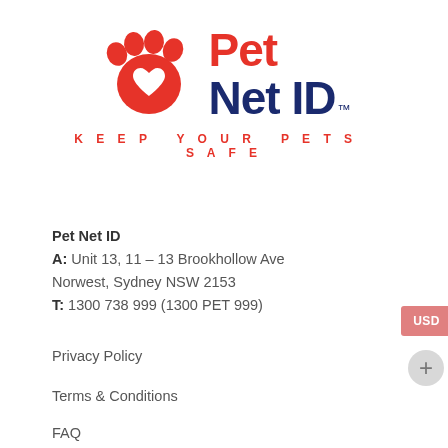[Figure (logo): Pet Net ID logo with red paw print icon containing a white heart, red 'Pet' text and dark navy 'Net ID' text with TM mark, and red tagline 'KEEP YOUR PETS SAFE']
Pet Net ID
A: Unit 13, 11 – 13 Brookhollow Ave
Norwest, Sydney NSW 2153
T: 1300 738 999 (1300 PET 999)
Privacy Policy
Terms & Conditions
FAQ